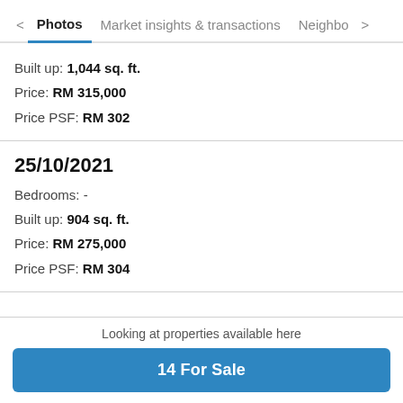< Photos   Market insights & transactions   Neighbo >
Built up: 1,044 sq. ft.
Price: RM 315,000
Price PSF: RM 302
25/10/2021
Bedrooms: -
Built up: 904 sq. ft.
Price: RM 275,000
Price PSF: RM 304
Looking at properties available here
14 For Sale